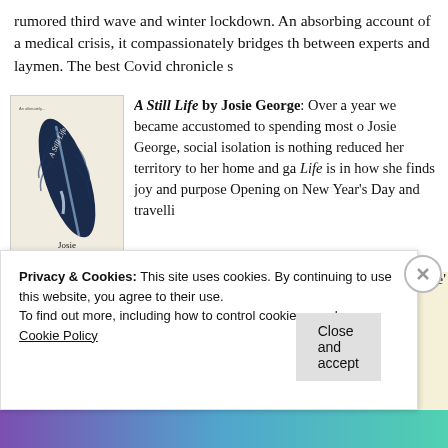rumored third wave and winter lockdown. An absorbing account of a medical crisis, it compassionately bridges the gap between experts and laymen. The best Covid chronicle so
[Figure (illustration): Book cover of 'A Still Life' by Josie George — a dark blue feather on a light/cream background with the title written along the feather and author name at the bottom, subtitled 'A Memoir']
A Still Life by Josie George: Over a year we became accustomed to spending most of our time at home. For Josie George, social isolation is nothing new — illness has reduced her territory to her home and garden. A Still Life is in how she finds joy and purpose and... Opening on New Year's Day and travelli
Privacy & Cookies: This site uses cookies. By continuing to use this website, you agree to their use.
To find out more, including how to control cookies, see here: Cookie Policy
Close and accept